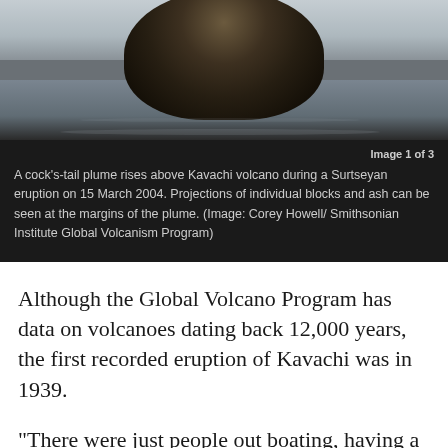[Figure (photo): A cock's-tail plume rising above Kavachi volcano during a Surtseyan eruption on 15 March 2004, photographed from the water. Dark volcanic mass visible against grey sky with water reflections below.]
Image 1 of 3
A cock's-tail plume rises above Kavachi volcano during a Surtseyan eruption on 15 March 2004. Projections of individual blocks and ash can be seen at the margins of the plume. (Image: Corey Howell/ Smithsonian Institute Global Volcanism Program)
Although the Global Volcano Program has data on volcanoes dating back 12,000 years, the first recorded eruption of Kavachi was in 1939.
"There were just people out boating, having a good